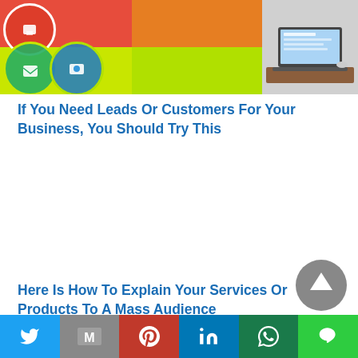[Figure (photo): Marketing collage showing colorful overlapping circles with icons and a laptop displaying a website on a desk]
If You Need Leads Or Customers For Your Business, You Should Try This
Here Is How To Explain Your Services Or Products To A Mass Audience
[Figure (other): Scroll-to-top circular button with upward arrow, grey background]
Twitter | Gmail | Pinterest | LinkedIn | WhatsApp | Line